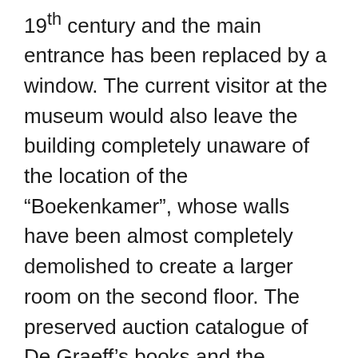19th century and the main entrance has been replaced by a window. The current visitor at the museum would also leave the building completely unaware of the location of the “Boekenkamer”, whose walls have been almost completely demolished to create a larger room on the second floor. The preserved auction catalogue of De Graeff’s books and the annotations in his diary regarding the titles he bought, lent or borrowed, gives us an interesting overview of his interests and of the content of his library that I can visualize in the 3D model.
The real-world measurements in which the